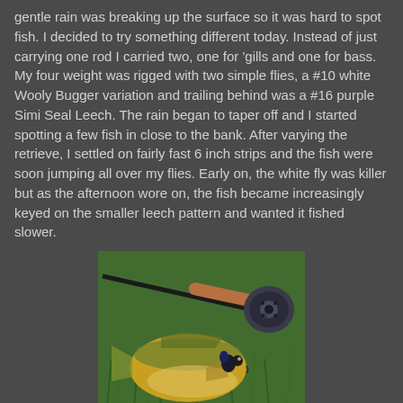gentle rain was breaking up the surface so it was hard to spot fish. I decided to try something different today. Instead of just carrying one rod I carried two, one for 'gills and one for bass. My four weight was rigged with two simple flies, a #10 white Wooly Bugger variation and trailing behind was a #16 purple Simi Seal Leech. The rain began to taper off and I started spotting a few fish in close to the bank. After varying the retrieve, I settled on fairly fast 6 inch strips and the fish were soon jumping all over my flies. Early on, the white fly was killer but as the afternoon wore on, the fish became increasingly keyed on the smaller leech pattern and wanted it fished slower.
[Figure (photo): A bluegill fish and a fly fishing rod with cork handle and reel lying on green grass.]